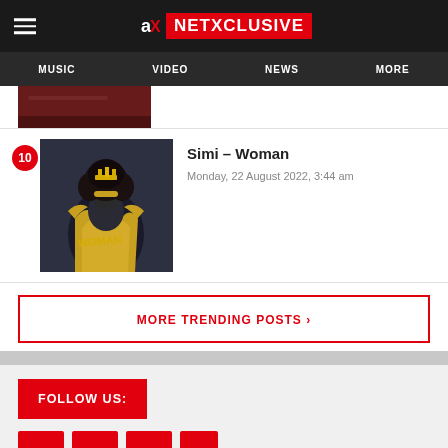NETXCLUSIVE — Navigation: MUSIC, VIDEO, NEWS, MORE
[Figure (photo): Partial view of an album art image, reddish-brown tones, cropped at top]
10  Simi – Woman
Monday, 22 August 2022, 3:44 am
[Figure (photo): Simi – Woman album art: stylized illustration of a woman with afro, gold dress, dark background with 'Woman' text in yellow]
MORE TRENDING POSTS ›
FOLLOW US:
[Figure (other): Social media icon buttons (red squares), partially visible at bottom]